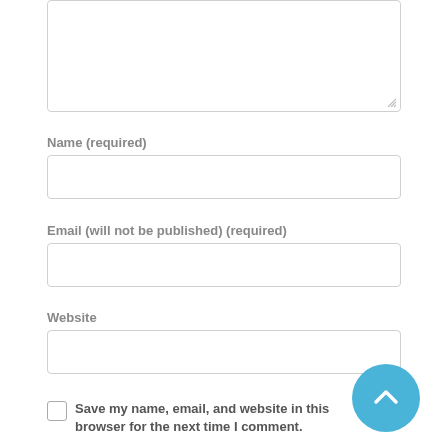[Figure (other): Empty textarea input field with resize handle at bottom-right]
Name (required)
[Figure (other): Empty text input field for Name]
Email (will not be published) (required)
[Figure (other): Empty text input field for Email]
Website
[Figure (other): Empty text input field for Website]
Save my name, email, and website in this browser for the next time I comment.